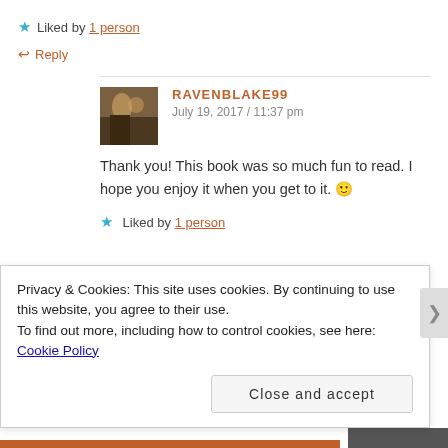★ Liked by 1 person
↩ Reply
RAVENBLAKE99
July 19, 2017 / 11:37 pm
Thank you! This book was so much fun to read. I hope you enjoy it when you get to it. 🙂
★ Liked by 1 person
Privacy & Cookies: This site uses cookies. By continuing to use this website, you agree to their use.
To find out more, including how to control cookies, see here: Cookie Policy
Close and accept